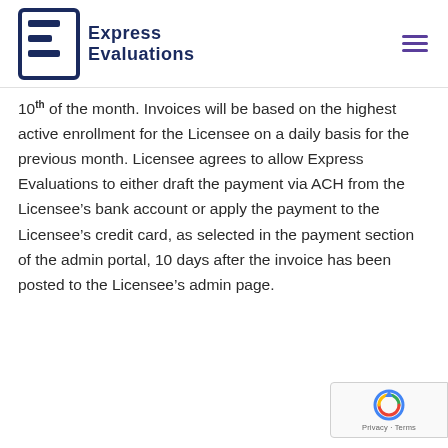Express Evaluations
10th of the month. Invoices will be based on the highest active enrollment for the Licensee on a daily basis for the previous month. Licensee agrees to allow Express Evaluations to either draft the payment via ACH from the Licensee's bank account or apply the payment to the Licensee's credit card, as selected in the payment section of the admin portal, 10 days after the invoice has been posted to the Licensee's admin page.
[Figure (logo): reCAPTCHA badge with Privacy and Terms links]